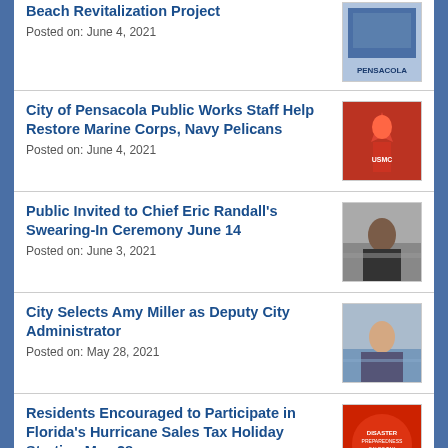Beach Revitalization Project
Posted on: June 4, 2021
City of Pensacola Public Works Staff Help Restore Marine Corps, Navy Pelicans
Posted on: June 4, 2021
Public Invited to Chief Eric Randall's Swearing-In Ceremony June 14
Posted on: June 3, 2021
City Selects Amy Miller as Deputy City Administrator
Posted on: May 28, 2021
Residents Encouraged to Participate in Florida's Hurricane Sales Tax Holiday Starting May 28
Posted on: May 25, 2021